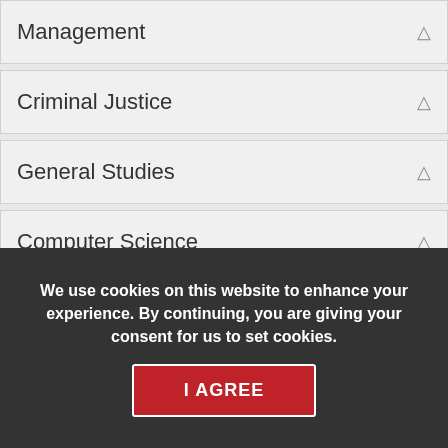Management
Criminal Justice
General Studies
Computer Science
Cybersecurity and Operations
We use cookies on this website to enhance your experience. By continuing, you are giving your consent for us to set cookies.
I AGREE